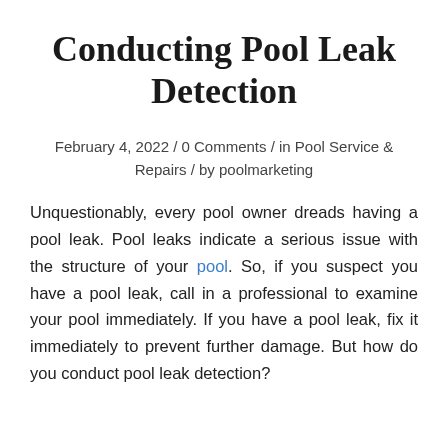Conducting Pool Leak Detection
February 4, 2022 / 0 Comments / in Pool Service & Repairs / by poolmarketing
Unquestionably, every pool owner dreads having a pool leak. Pool leaks indicate a serious issue with the structure of your pool. So, if you suspect you have a pool leak, call in a professional to examine your pool immediately. If you have a pool leak, fix it immediately to prevent further damage. But how do you conduct pool leak detection?